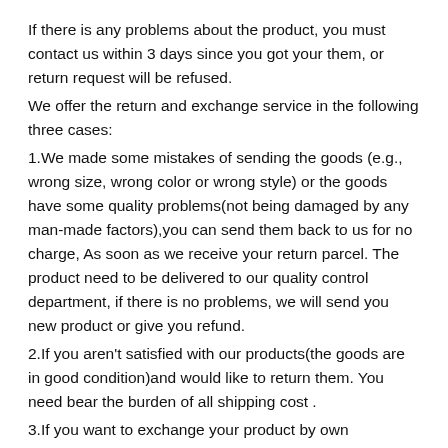If there is any problems about the product, you must contact us within 3 days since you got your them, or return request will be refused.
We offer the return and exchange service in the following three cases:
1.We made some mistakes of sending the goods (e.g., wrong size, wrong color or wrong style) or the goods have some quality problems(not being damaged by any man-made factors),you can send them back to us for no charge, As soon as we receive your return parcel. The product need to be delivered to our quality control department, if there is no problems, we will send you new product or give you refund.
2.If you aren't satisfied with our products(the goods are in good condition)and would like to return them. You need bear the burden of all shipping cost .
3.If you want to exchange your product by own